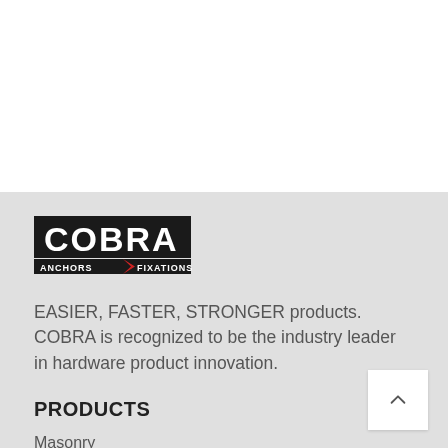[Figure (logo): COBRA ANCHORS & FIXATIONS logo — bold black COBRA text above 'ANCHORS' and 'FIXATIONS' text with a red arrow/chevron separator]
EASIER, FASTER, STRONGER products. COBRA is recognized to be the industry leader in hardware product innovation.
PRODUCTS
Masonry
Concrete Screws
Hollow Wall
Universal
Hooks & Hangers